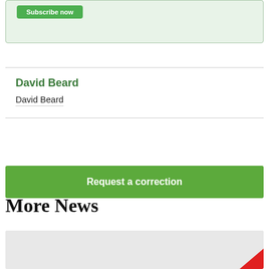[Figure (screenshot): Partial green card/box with a green button at the top of the page]
David Beard
David Beard
Request a correction
More News
[Figure (photo): Partial image with grey background and red element at bottom right corner]